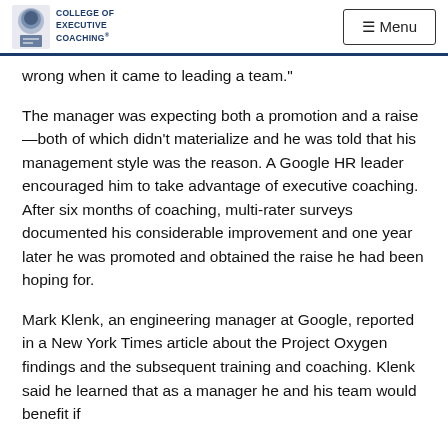College of Executive Coaching | Menu
wrong when it came to leading a team."
The manager was expecting both a promotion and a raise—both of which didn't materialize and he was told that his management style was the reason. A Google HR leader encouraged him to take advantage of executive coaching. After six months of coaching, multi-rater surveys documented his considerable improvement and one year later he was promoted and obtained the raise he had been hoping for.
Mark Klenk, an engineering manager at Google, reported in a New York Times article about the Project Oxygen findings and the subsequent training and coaching. Klenk said he learned that as a manager he and his team would benefit if